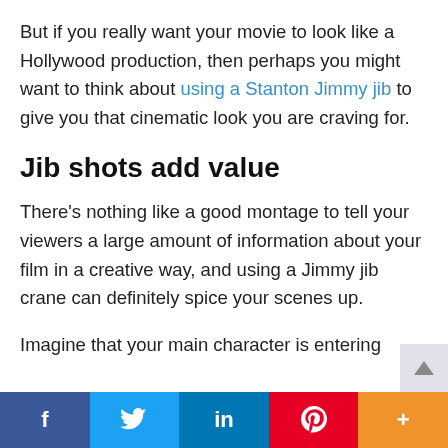But if you really want your movie to look like a Hollywood production, then perhaps you might want to think about using a Stanton Jimmy jib to give you that cinematic look you are craving for.
Jib shots add value
There's nothing like a good montage to tell your viewers a large amount of information about your film in a creative way, and using a Jimmy jib crane can definitely spice your scenes up.
Imagine that your main character is entering
f  Twitter  in  Pinterest  +